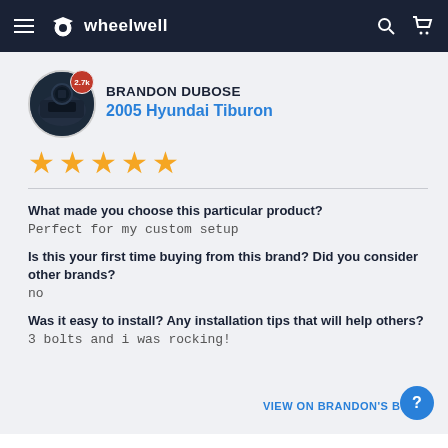wheelwell
BRANDON DUBOSE
2005 Hyundai Tiburon
[Figure (other): 5 gold star rating]
What made you choose this particular product?
Perfect for my custom setup
Is this your first time buying from this brand? Did you consider other brands?
no
Was it easy to install? Any installation tips that will help others?
3 bolts and i was rocking!
VIEW ON BRANDON'S BUILD